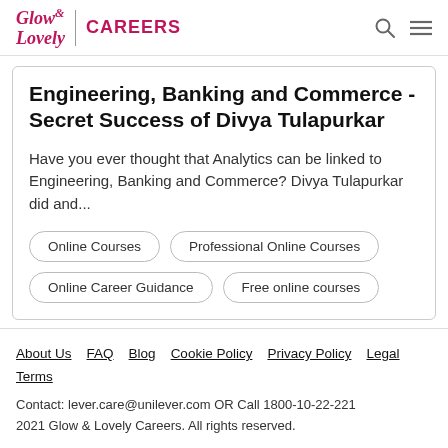Glow & Lovely CAREERS
Engineering, Banking and Commerce - Secret Success of Divya Tulapurkar
Have you ever thought that Analytics can be linked to Engineering, Banking and Commerce? Divya Tulapurkar did and...
Online Courses
Professional Online Courses
Online Career Guidance
Free online courses
About Us | FAQ | Blog | Cookie Policy | Privacy Policy | Legal Terms
Contact: lever.care@unilever.com OR Call 1800-10-22-221
2021 Glow & Lovely Careers. All rights reserved.